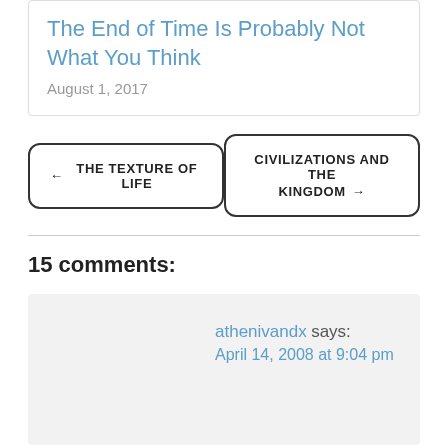The End of Time Is Probably Not What You Think
August 1, 2017
← THE TEXTURE OF LIFE
CIVILIZATIONS AND THE KINGDOM →
15 comments:
athenivandx says: April 14, 2008 at 9:04 pm